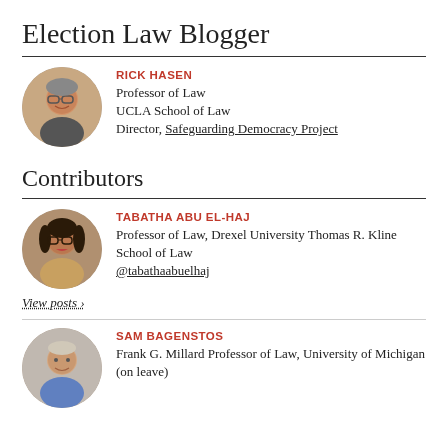Election Law Blogger
[Figure (photo): Circular headshot of Rick Hasen, a man with glasses and grey hair, smiling]
RICK HASEN
Professor of Law
UCLA School of Law
Director, Safeguarding Democracy Project
Contributors
[Figure (photo): Circular headshot of Tabatha Abu El-Haj, a woman with dark hair and glasses]
TABATHA ABU EL-HAJ
Professor of Law, Drexel University Thomas R. Kline School of Law
@tabathaabuelhaj
View posts ›
[Figure (photo): Circular headshot of Sam Bagenstos, a man with light hair and a smile]
SAM BAGENSTOS
Frank G. Millard Professor of Law, University of Michigan (on leave)